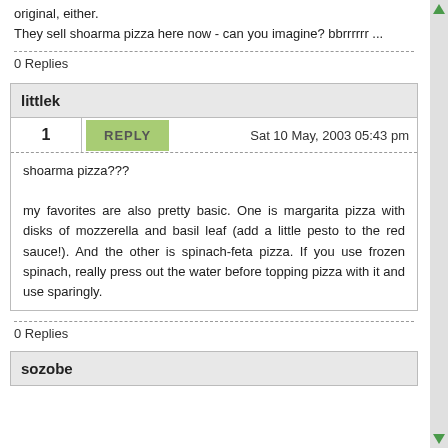original, either.
They sell shoarma pizza here now - can you imagine? bbrrrrrr ...
0 Replies
littlek
1
REPLY
Sat 10 May, 2003 05:43 pm
shoarma pizza???

my favorites are also pretty basic. One is margarita pizza with disks of mozzerella and basil leaf (add a little pesto to the red sauce!). And the other is spinach-feta pizza. If you use frozen spinach, really press out the water before topping pizza with it and use sparingly.
0 Replies
sozobe